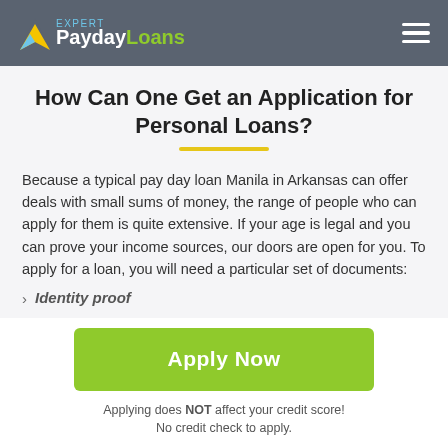PaydayLoans Expert
How Can One Get an Application for Personal Loans?
Because a typical pay day loan Manila in Arkansas can offer deals with small sums of money, the range of people who can apply for them is quite extensive. If your age is legal and you can prove your income sources, our doors are open for you. To apply for a loan, you will need a particular set of documents:
Identity proof
Apply Now
Applying does NOT affect your credit score! No credit check to apply.